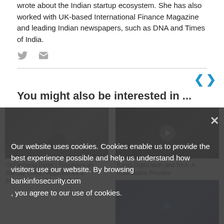wrote about the Indian startup ecosystem. She has also worked with UK-based International Finance Magazine and leading Indian newspapers, such as DNA and Times of India.
[Figure (other): Twitter and email social media icons in grey]
[Figure (other): Navigation left and right arrows in blue]
You might also be interested in ...
[Figure (photo): Dark photo of a person, left card thumbnail]
OnDemand Panel | Resolving an Identity Crisis? Approaches & Innovation for Fraud & KYC
[Figure (photo): Dark photo of a man in suit, right card thumbnail with play button]
Rapid Digitization and Risk: A Roundtable Preview
[Figure (photo): Dark blue tech background photo, bottom right card thumbnail]
Our website uses cookies. Cookies enable us to provide the best experience possible and help us understand how visitors use our website. By browsing bankinfosecurity.com, you agree to our use of cookies.